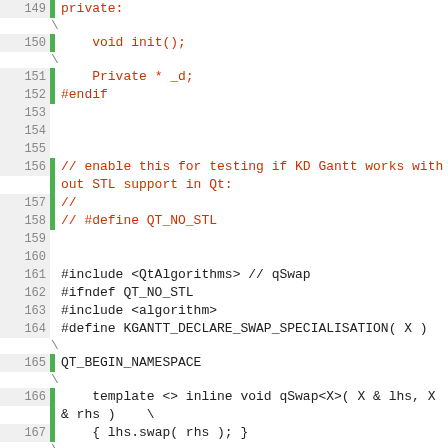[Figure (screenshot): Source code listing in C++ with line numbers 149-171, showing header file code with private section, preprocessor directives, includes, and template swap functions. Green gutters mark some line numbers.]